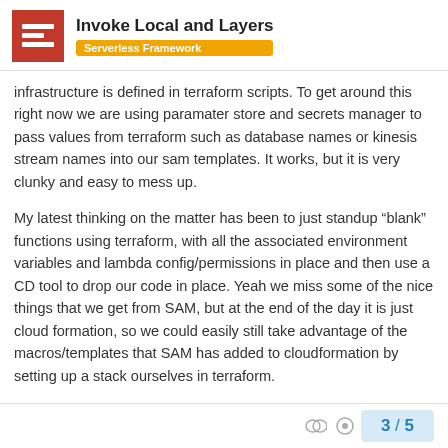Invoke Local and Layers — Serverless Framework
infrastructure is defined in terraform scripts. To get around this right now we are using paramater store and secrets manager to pass values from terraform such as database names or kinesis stream names into our sam templates. It works, but it is very clunky and easy to mess up.
My latest thinking on the matter has been to just standup “blank” functions using terraform, with all the associated environment variables and lambda config/permissions in place and then use a CD tool to drop our code in place. Yeah we miss some of the nice things that we get from SAM, but at the end of the day it is just cloud formation, so we could easily still take advantage of the macros/templates that SAM has added to cloudformation by setting up a stack ourselves in terraform.
Hope that helps give you some more context on the matter.
3 / 5